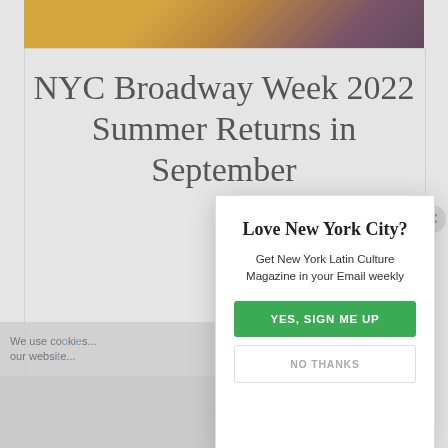[Figure (photo): Top strip showing yellow NYC taxi cab and dark reddish background, partially cropped]
NYC Broadway Week 2022 Summer Returns in September
We use co... our websi...
Love New York City?
Get New York Latin Culture Magazine in your Email weekly
YES, SIGN ME UP
NO THANKS